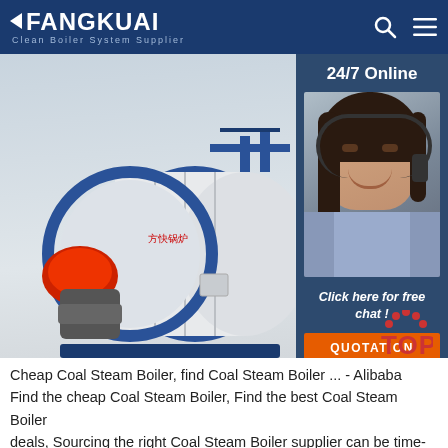FANGKUAI - Clean Boiler System Supplier
[Figure (screenshot): Industrial coal steam boiler product image from Fangkuai website, showing a large horizontal cylindrical boiler in white and blue with a red burner, mounted on a blue frame. Overlaid with a 24/7 Online customer service panel on the right showing a woman with a headset, 'Click here for free chat!' text and an orange QUOTATION button.]
[Figure (other): Red TOP icon with dots above it]
Cheap Coal Steam Boiler, find Coal Steam Boiler ... - Alibaba Find the cheap Coal Steam Boiler, Find the best Coal Steam Boiler deals, Sourcing the right Coal Steam Boiler supplier can be time-